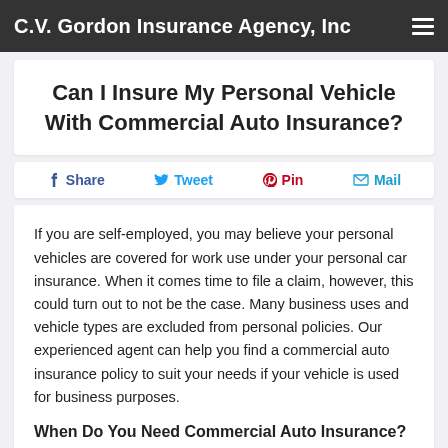C.V. Gordon Insurance Agency, Inc
Can I Insure My Personal Vehicle With Commercial Auto Insurance?
Share  Tweet  Pin  Mail
If you are self-employed, you may believe your personal vehicles are covered for work use under your personal car insurance. When it comes time to file a claim, however, this could turn out to not be the case. Many business uses and vehicle types are excluded from personal policies. Our experienced agent can help you find a commercial auto insurance policy to suit your needs if your vehicle is used for business purposes.
When Do You Need Commercial Auto Insurance?
You may need commercial auto insurance for any vehicle...